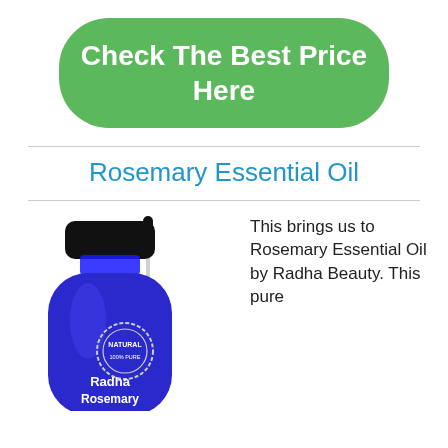[Figure (other): Green rounded rectangle button with white text reading 'Check The Best Price Here']
Rosemary Essential Oil
[Figure (photo): Blue glass bottle of Radha Rosemary essential oil with dropper, labeled 'Natural' and 'Radha Rosemary']
This brings us to Rosemary Essential Oil by Radha Beauty. This pure